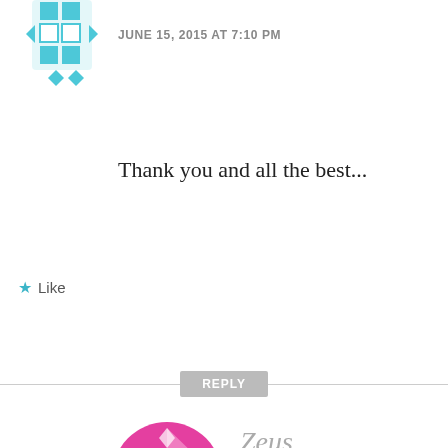[Figure (illustration): Teal geometric/pixel avatar icon, partially visible at top left]
JUNE 15, 2015 AT 7:10 PM
Thank you and all the best...
Like
REPLY
[Figure (illustration): Pink/magenta geometric circular avatar for user Zeus]
Zeus
JUNE 15, 2015 AT 7:13 PM
Sad news, One of the best Indian Android blog I have been following is androidos.in. Will surely miss the updates. All the best for your future endeavour.